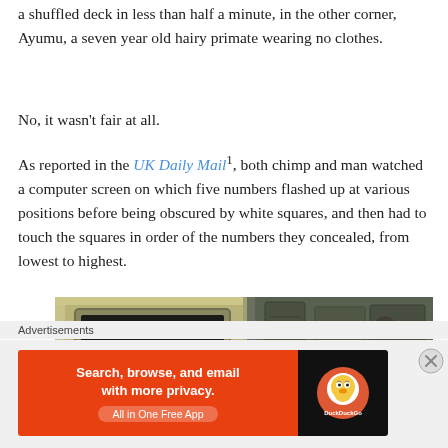a shuffled deck in less than half a minute, in the other corner, Ayumu, a seven year old hairy primate wearing no clothes.
No, it wasn't fair at all.
As reported in the UK Daily Mail¹, both chimp and man watched a computer screen on which five numbers flashed up at various positions before being obscured by white squares, and then had to touch the squares in order of the numbers they concealed, from lowest to highest.
[Figure (photo): Photo of a chimpanzee experiment setup showing a touchscreen monitor mounted in a frame with numbers (6, 7, 3) visible on the screen, partial view of lab equipment on the right.]
Advertisements
[Figure (other): DuckDuckGo advertisement banner: 'Search, browse, and email with more privacy. All in One Free App' with DuckDuckGo logo on dark background.]